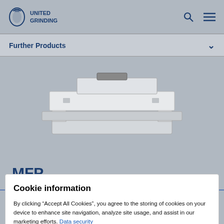UNITED GRINDING
Further Products
[Figure (photo): Industrial machine component (MFP) photographed against a grey background — a white rectangular metal fixture or workholding device shown in 3/4 perspective view.]
MFP
Cookie information
By clicking “Accept All Cookies”, you agree to the storing of cookies on your device to enhance site navigation, analyze site usage, and assist in our marketing efforts. Data security
Accept All Cookies
Reject All